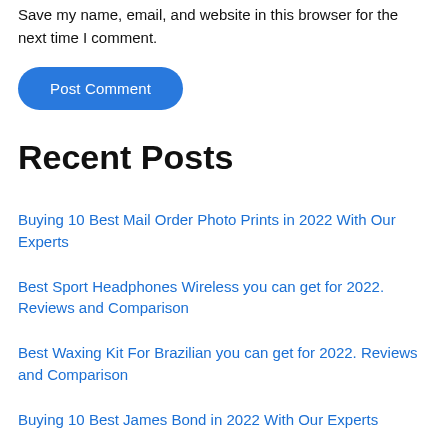Save my name, email, and website in this browser for the next time I comment.
Post Comment
Recent Posts
Buying 10 Best Mail Order Photo Prints in 2022 With Our Experts
Best Sport Headphones Wireless you can get for 2022. Reviews and Comparison
Best Waxing Kit For Brazilian you can get for 2022. Reviews and Comparison
Buying 10 Best James Bond in 2022 With Our Experts
Buying 10 Best Camera For 150 Dollars in 2022 With Our